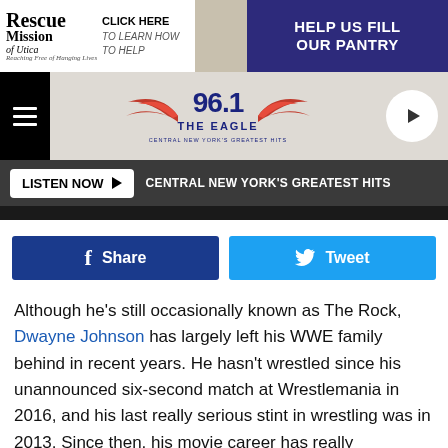[Figure (screenshot): Rescue Mission of Utica advertisement banner with text 'CLICK HERE TO LEARN HOW TO HELP' and 'HELP US FILL OUR PANTRY']
[Figure (logo): 96.1 The Eagle radio station logo with wings, navigation bar with hamburger menu and play button]
LISTEN NOW ▶   CENTRAL NEW YORK'S GREATEST HITS
[Figure (screenshot): Dark photo strip]
Share  Tweet
Although he's still occasionally known as The Rock, Dwayne Johnson has largely left his WWE family behind in recent years. He hasn't wrestled since his unannounced six-second match at Wrestlemania in 2016, and his last really serious stint in wrestling was in 2013. Since then, his movie career has really skyrocketed (sorry), leaving little time for People's Elbows and spinebusters.